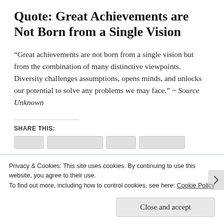Quote: Great Achievements are Not Born from a Single Vision
“Great achievements are not born from a single vision but from the combination of many distinctive viewpoints. Diversity challenges assumptions, opens minds, and unlocks our potential to solve any problems we may face.” ~ Source Unknown
SHARE THIS:
Privacy & Cookies: This site uses cookies. By continuing to use this website, you agree to their use.
To find out more, including how to control cookies, see here: Cookie Policy